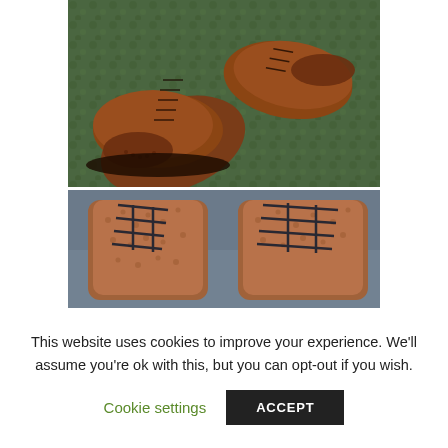[Figure (photo): Top-down view of two brown leather brogue dress shoes with laces, placed on green moss or textured green surface]
[Figure (photo): Close-up view of brown pebbled leather boots with dark laces, showing the toe and lace area in detail]
This website uses cookies to improve your experience. We'll assume you're ok with this, but you can opt-out if you wish.
Cookie settings
ACCEPT